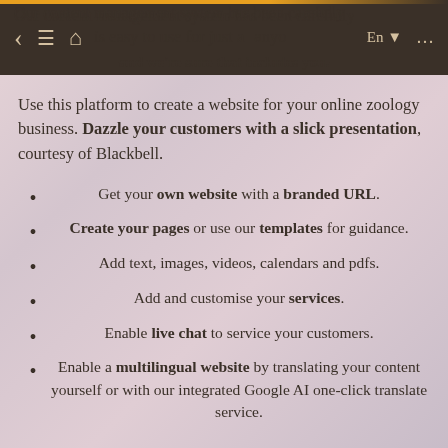Our content management system has been carefully created so that it is easy to use for just about anyone, and we're sure that includes you.
Use this platform to create a website for your online zoology business. Dazzle your customers with a slick presentation, courtesy of Blackbell.
Get your own website with a branded URL.
Create your pages or use our templates for guidance.
Add text, images, videos, calendars and pdfs.
Add and customise your services.
Enable live chat to service your customers.
Enable a multilingual website by translating your content yourself or with our integrated Google AI one-click translate service.